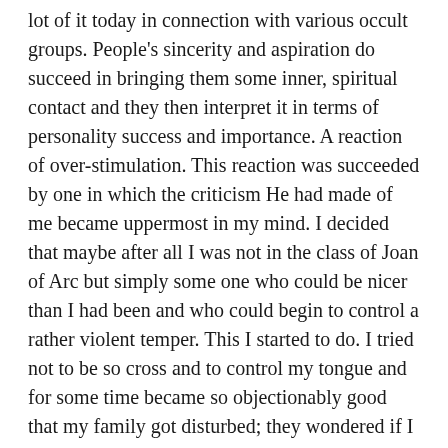lot of it today in connection with various occult groups. People's sincerity and aspiration do succeed in bringing them some inner, spiritual contact and they then interpret it in terms of personality success and importance. A reaction of over-stimulation. This reaction was succeeded by one in which the criticism He had made of me became uppermost in my mind. I decided that maybe after all I was not in the class of Joan of Arc but simply some one who could be nicer than I had been and who could begin to control a rather violent temper. This I started to do. I tried not to be so cross and to control my tongue and for some time became so objectionably good that my family got disturbed; they wondered if I was ill and almost begged me to resume my explosive displays. I was smug and sweet and sentimental.
As the years went by I found that at seven years intervals (until I was thirty-five) I had indications of the supervision and interest of this individual. Then in 1915 I discovered who He was and that other people